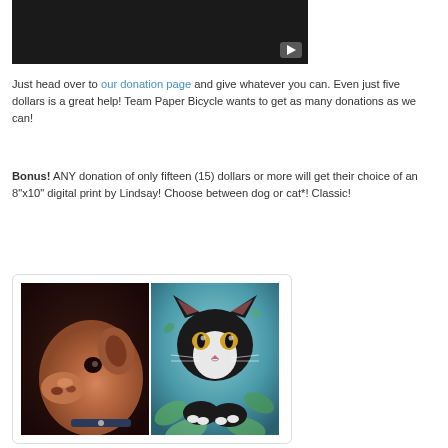[Figure (screenshot): Black video player thumbnail with a YouTube-style play button in the bottom right corner]
Just head over to our donation page and give whatever you can. Even just five dollars is a great help! Team Paper Bicycle wants to get as many donations as we can!
Bonus! ANY donation of only fifteen (15) dollars or more will get their choice of an 8"x10" digital print by Lindsay! Choose between dog or cat*! Classic!
[Figure (illustration): Two digital art prints side by side: a dog portrait with warm brown tones and a black and white cat with teal background surrounded by plants]